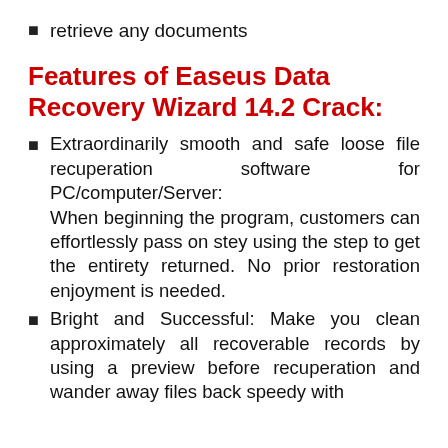retrieve any documents
Features of Easeus Data Recovery Wizard 14.2 Crack:
Extraordinarily smooth and safe loose file recuperation software for PC/computer/Server: When beginning the program, customers can effortlessly pass on stey using the step to get the entirety returned. No prior restoration enjoyment is needed.
Bright and Successful: Make you clean approximately all recoverable records by using a preview before recuperation and wander away files back speedy with